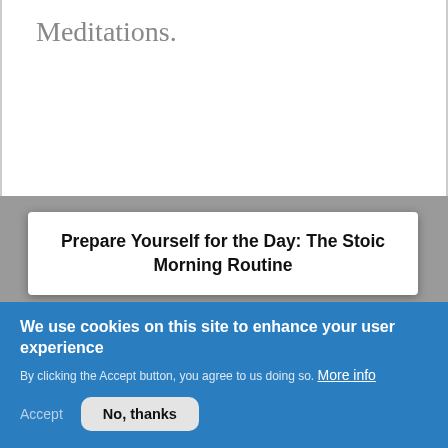Meditations.
Prepare Yourself for the Day: The Stoic Morning Routine
[Figure (illustration): Cartoon-style illustration of Greek philosophers (Stoics) with speech bubbles, alongside a book cover 'The Little Book of Stoicism']
We use cookies on this site to enhance your user experience
By clicking the Accept button, you agree to us doing so.  More info
Accept
No, thanks